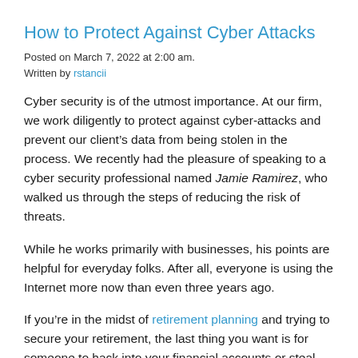How to Protect Against Cyber Attacks
Posted on March 7, 2022 at 2:00 am.
Written by rstancii
Cyber security is of the utmost importance. At our firm, we work diligently to protect against cyber-attacks and prevent our client’s data from being stolen in the process. We recently had the pleasure of speaking to a cyber security professional named Jamie Ramirez, who walked us through the steps of reducing the risk of threats.
While he works primarily with businesses, his points are helpful for everyday folks. After all, everyone is using the Internet more now than even three years ago.
If you’re in the midst of retirement planning and trying to secure your retirement, the last thing you want is for someone to hack into your financial accounts or steal your